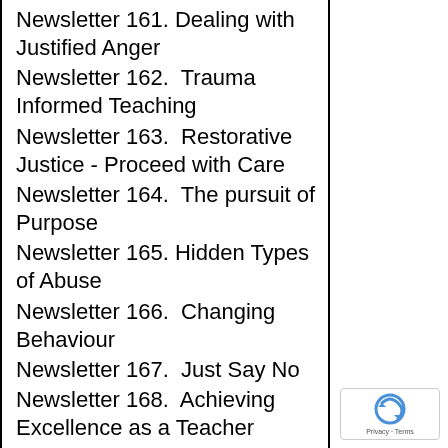Newsletter 161. Dealing with Justified Anger
Newsletter 162.  Trauma Informed Teaching
Newsletter 163.  Restorative Justice - Proceed with Care
Newsletter 164.  The pursuit of Purpose
Newsletter 165. Hidden Types of Abuse
Newsletter 166.  Changing Behaviour
Newsletter 167.  Just Say No
Newsletter 168.  Achieving Excellence as a Teacher
Newsletter 169.  Indirect Bullying
Newsletter 170.  The Queen